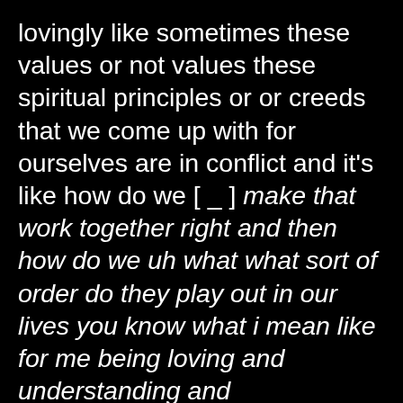lovingly like sometimes these values or not values these spiritual principles or or creeds that we come up with for ourselves are in conflict and it's like how do we [ _ ] make that work together right and then how do we uh what what sort of order do they play out in our lives you know what i mean like for me being loving and understanding and compassionate if i were to write it out on paper or tell someone that those were my highest values you know that's that's what i that's the person i want to be but in that situation that's not the way that i acted right like in that situation what i've done is put you know basically money you know because of that's what i look at oh now i got to go out and buy something new because you were irresponsible it's like i'm living in conflict to the